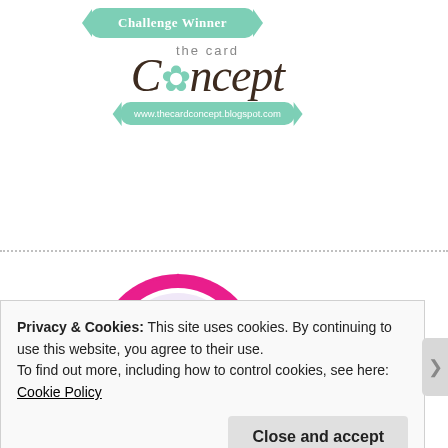[Figure (logo): The Card Concept Challenge Winner badge - teal/mint colored badge with text 'Challenge Winner', cursive logo reading 'the card Concept' with snowflake replacing the 'o', and URL www.thecardconcept.blogspot.com]
[Figure (logo): Simon Says Stamp Wednesday Challenge Winner circular badge with pink/magenta spiky border, orange ribbon at bottom, and Boston Terrier dog illustration in the center]
Privacy & Cookies: This site uses cookies. By continuing to use this website, you agree to their use.
To find out more, including how to control cookies, see here: Cookie Policy
Close and accept